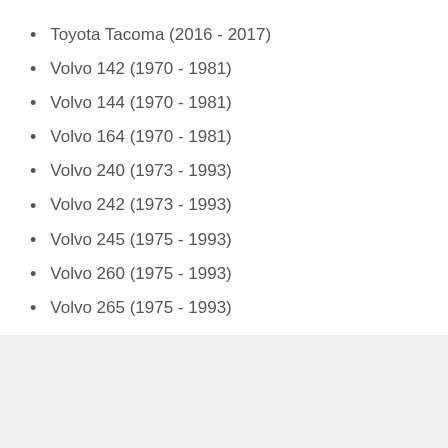Toyota Tacoma (2016 - 2017)
Volvo 142 (1970 - 1981)
Volvo 144 (1970 - 1981)
Volvo 164 (1970 - 1981)
Volvo 240 (1973 - 1993)
Volvo 242 (1973 - 1993)
Volvo 245 (1975 - 1993)
Volvo 260 (1975 - 1993)
Volvo 265 (1975 - 1993)
YOU MAY ALSO LIKE